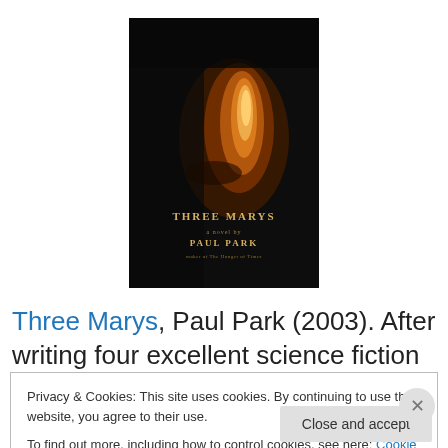[Figure (photo): Book cover of 'Three Marys' by Paul Park — dark background with warm amber/orange tones, text reads 'THREE MARYS a novel by PAUL PARK maker of The Hunger of Times']
Three Marys, Paul Park (2003). After writing four excellent science fiction novels, one of which remains my favourite sf novel of all time, Park decided to write a couple of
Privacy & Cookies: This site uses cookies. By continuing to use this website, you agree to their use.
To find out more, including how to control cookies, see here: Cookie Policy
Close and accept